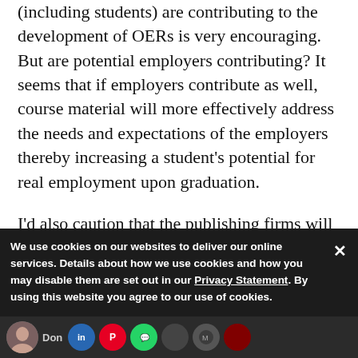(including students) are contributing to the development of OERs is very encouraging. But are potential employers contributing? It seems that if employers contribute as well, course material will more effectively address the needs and expectations of the employers thereby increasing a student's potential for real employment upon graduation.
I'd also caution that the publishing firms will probably lobby congress to pass legislation that will cripple the efforts of OERs. That's how the "free market" actually works in th...
We use cookies on our websites to deliver our online services. Details about how we use cookies and how you may disable them are set out in our Privacy Statement. By using this website you agree to our use of cookies.